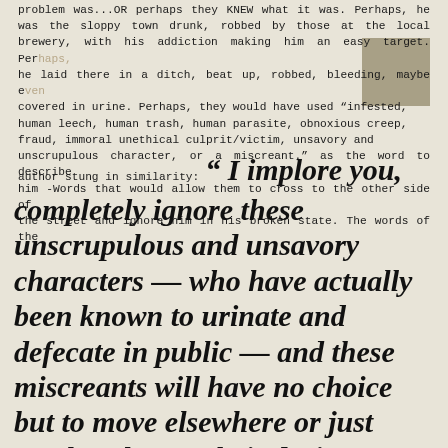problem was...OR perhaps they KNEW what it was. Perhaps, he was the sloppy town drunk, robbed by those at the local brewery, with his addiction making him an easy target. Perhaps, he laid there in a ditch, beat up, robbed, bleeding, maybe even covered in urine. Perhaps, they would have used "infested, human leech, human trash, human parasite, obnoxious creep, fraud, immoral unethical culprit/victim, unsavory and unscrupulous character, or a miscreant." as the word to describe him -Words that would allow them to cross to the other side of the street and ignore him in his broken state. The words of the author stung in similarity:
“ I implore you, completely ignore these unscrupulous and unsavory characters — who have actually been known to urinate and defecate in public — and these miscreants will have no choice but to move elsewhere or just maybe, change their devious ways.”